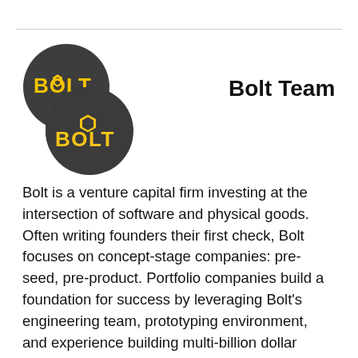[Figure (logo): Bolt logo: dark grey circle with yellow 'BOLT' text and a hexagonal bolt icon]
Bolt Team
Bolt is a venture capital firm investing at the intersection of software and physical goods. Often writing founders their first check, Bolt focuses on concept-stage companies: pre-seed, pre-product. Portfolio companies build a foundation for success by leveraging Bolt's engineering team, prototyping environment, and experience building multi-billion dollar companies. Bolt has offices in San Francisco and Boston.